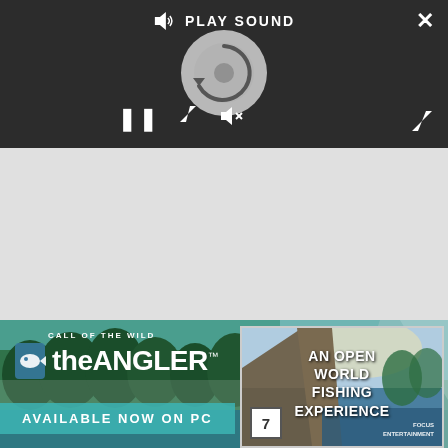[Figure (screenshot): Media player UI with dark background, play sound label, spinning disc graphic, pause button and sound controls, close X button and expand button]
[Figure (screenshot): Gray empty content area below media player]
[Figure (infographic): Call of the Wild: theANGLER game advertisement banner with forest/lake background, game logo, 'AVAILABLE NOW ON PC' text, and game box art showing 'AN OPEN WORLD FISHING EXPERIENCE']